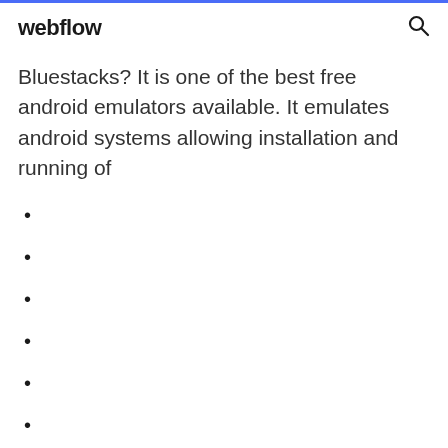webflow
Bluestacks? It is one of the best free android emulators available. It emulates android systems allowing installation and running of